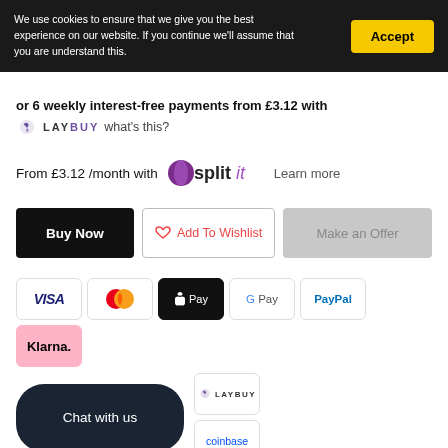We use cookies to ensure that we give you the best experience on our website. If you continue we'll assume that you are understand this.
Accept
or 6 weekly interest-free payments from £3.12 with LAYBUY what's this?
From £3.12 /month with Splitit Learn more
Buy Now
Add To Wishlist
Make an Offer
[Figure (logo): Payment method logos: VISA, Mastercard, Apple Pay, Google Pay, PayPal, Klarna, Laybuy, Coinbase]
Chat with us